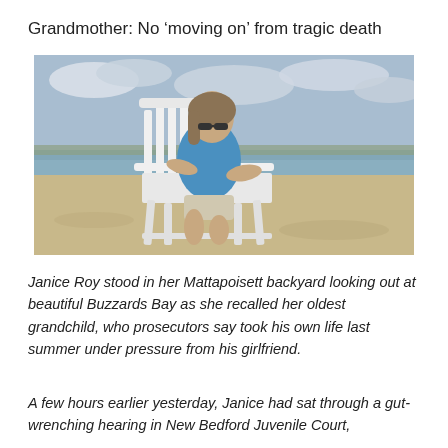Grandmother: No ‘moving on’ from tragic death
[Figure (photo): A woman with shoulder-length hair wearing a blue shirt sits in a white Adirondack chair on a sandy beach, looking out toward a calm bay under a partly cloudy sky.]
Janice Roy stood in her Mattapoisett backyard looking out at beautiful Buzzards Bay as she recalled her oldest grandchild, who prosecutors say took his own life last summer under pressure from his girlfriend.
A few hours earlier yesterday, Janice had sat through a gut-wrenching hearing in New Bedford Juvenile Court,